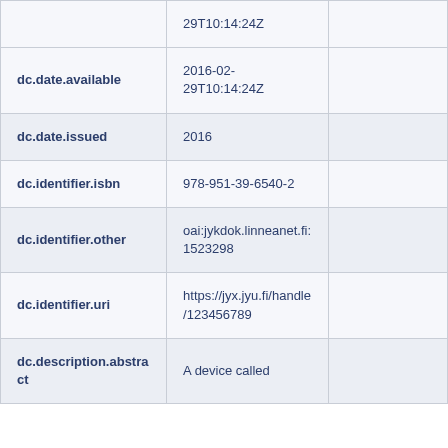| Field | Value |  |
| --- | --- | --- |
|  | 29T10:14:24Z |  |
| dc.date.available | 2016-02-29T10:14:24Z |  |
| dc.date.issued | 2016 |  |
| dc.identifier.isbn | 978-951-39-6540-2 |  |
| dc.identifier.other | oai:jykdok.linneanet.fi:1523298 |  |
| dc.identifier.uri | https://jyx.jyu.fi/handle/123456789… |  |
| dc.description.abstract | A device called |  |